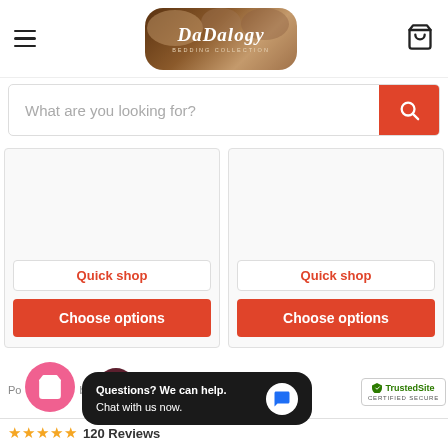[Figure (logo): DaDalogy Bedding Collection logo - brown rounded rectangle with cursive white text]
What are you looking for?
Quick shop
Choose options
Quick shop
Choose options
[Figure (infographic): Powered by Yotpo badge and pink shopping bag icon with heart, YotPo circular logo]
Questions? We can help. Chat with us now.
[Figure (logo): TrustedSite certified secure badge]
★★★★★ 120 Reviews